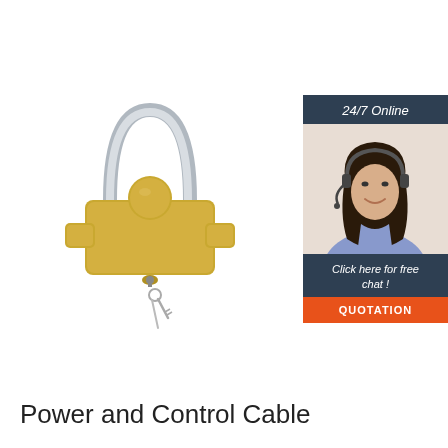[Figure (photo): Yellow trailer hitch ball lock with chrome U-shackle and keys hanging from keyhole]
[Figure (infographic): 24/7 online chat widget with woman wearing headset, 'Click here for free chat!' text, and orange QUOTATION button]
Power and Control Cable